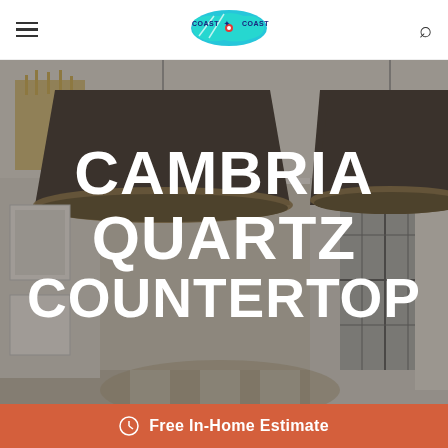Coast to Coast — navigation header with hamburger menu, logo, and search icon
[Figure (photo): Interior living/dining room scene with two large pendant lights with dark cone shades and brass rims hanging from the ceiling, a gold chandelier on the left, white walls, French doors, framed artwork, and dining chairs with nailhead trim. The room has a light, elegant style.]
CAMBRIA QUARTZ COUNTERTOP
Free In-Home Estimate